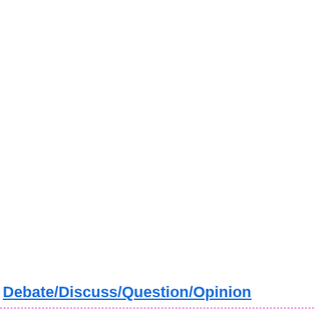Debate/Discuss/Question/Opinion